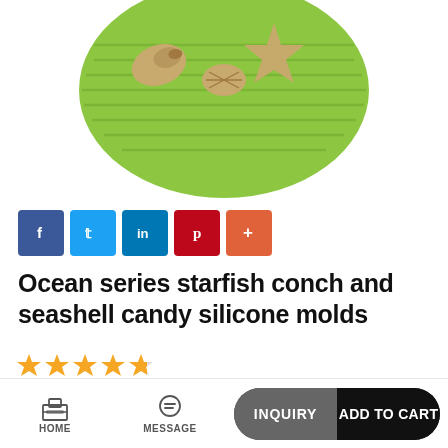[Figure (photo): Green circular silicone mold with sea-themed shapes (starfish, conch, seashell) in tan/beige color on top]
[Figure (infographic): Social sharing buttons: Facebook (blue), Twitter (light blue), LinkedIn (blue), Pinterest (red), More (orange)]
Ocean series starfish conch and seashell candy silicone molds
[Figure (other): 4.5 star rating shown with orange stars]
| Quantity | Price |
| --- | --- |
| ≥50 Pi... | $3.00 |
|  |  |
Item No   ES-0512
HOME   MESSAGE   INQUIRY   ADD TO CART